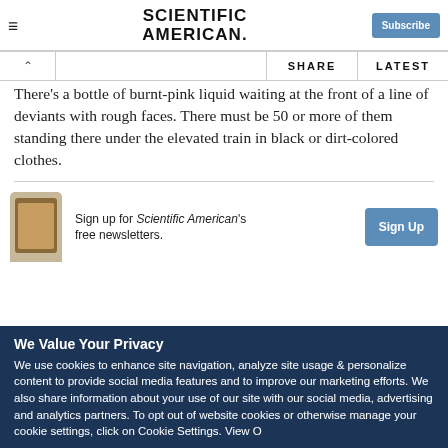SCIENTIFIC AMERICAN
There's a bottle of burnt-pink liquid waiting at the front of a line of deviants with rough faces. There must be 50 or more of them standing there under the elevated train in black or dirt-colored clothes.
Sign up for Scientific American's free newsletters.
We Value Your Privacy
We use cookies to enhance site navigation, analyze site usage & personalize content to provide social media features and to improve our marketing efforts. We also share information about your use of our site with our social media, advertising and analytics partners. To opt out of website cookies or otherwise manage your cookie settings, click on Cookie Settings. View O…